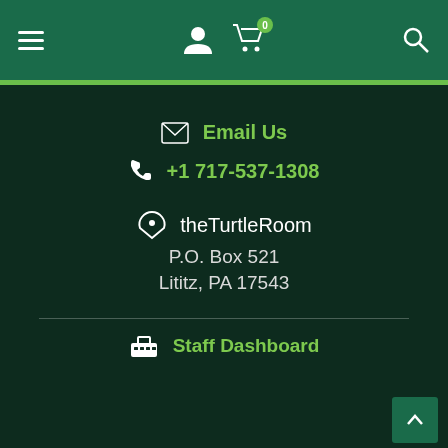[Figure (screenshot): Navigation header bar with hamburger menu, user icon, shopping cart with badge showing 0 items, and search icon on dark green background]
Email Us
+1 717-537-1308
theTurtleRoom
P.O. Box 521
Lititz, PA 17543
Staff Dashboard